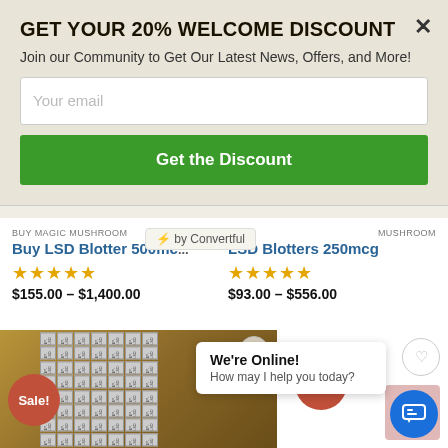GET YOUR 20% WELCOME DISCOUNT
Join our Community to Get Our Latest News, Offers, and More!
Your email
Get the Discount
⚡ by Convertful
BUY MAGIC MUSHROOM
Buy LSD Blotter 500mc...
★★★★★
$155.00 – $1,400.00
MUSHROOM
...LSD Blotters 250mcg
★★★★★
$93.00 – $556.00
[Figure (photo): Product image of 1P-LSD blotter sheets showing repeated 1P-LSD text pattern in blue/grey tones with Sale! badge]
Sale!
Sale!
We're Online!
How may I help you today?